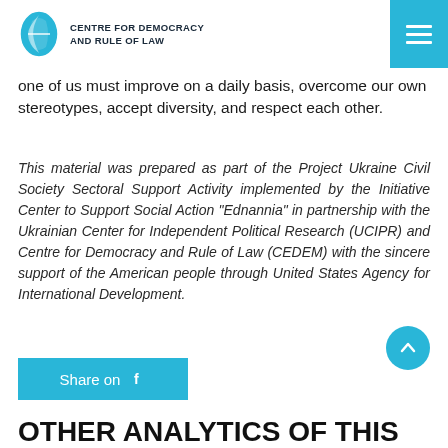CENTRE FOR DEMOCRACY AND RULE OF LAW
one of us must improve on a daily basis, overcome our own stereotypes, accept diversity, and respect each other.
This material was prepared as part of the Project Ukraine Civil Society Sectoral Support Activity implemented by the Initiative Center to Support Social Action “Ednannia” in partnership with the Ukrainian Center for Independent Political Research (UCIPR) and Centre for Democracy and Rule of Law (CEDEM) with the sincere support of the American people through United States Agency for International Development.
Share on
OTHER ANALYTICS OF THIS